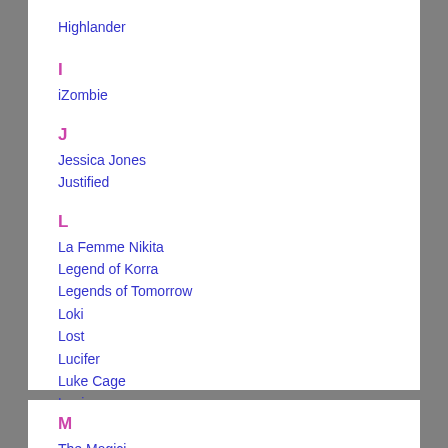Highlander
I
iZombie
J
Jessica Jones
Justified
L
La Femme Nikita
Legend of Korra
Legends of Tomorrow
Loki
Lost
Lucifer
Luke Cage
Lupin
"All TV Shows A-Z" index
M
The Magician...